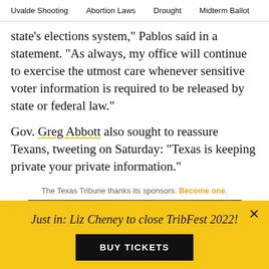Uvalde Shooting   Abortion Laws   Drought   Midterm Ballot
state’s elections system,” Pablos said in a statement. “As always, my office will continue to exercise the utmost care whenever sensitive voter information is required to be released by state or federal law.”
Gov. Greg Abbott also sought to reassure Texans, tweeting on Saturday: “Texas is keeping private your private information.”
The Texas Tribune thanks its sponsors. Become one.
[Figure (other): The Texas Tribune Festival banner. Sept. 22–24, 2022 | Downtown Austin]
Just in: Liz Cheney to close TribFest 2022!
BUY TICKETS